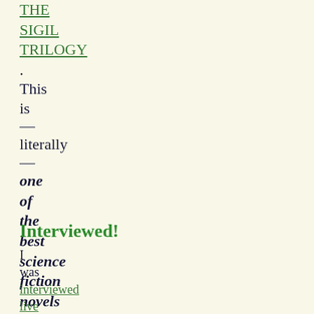THE SIGIL TRILOGY. This is — literally — one of the best science fiction novels I've ever read.
Interviewed!
I was interviewed live on public radio